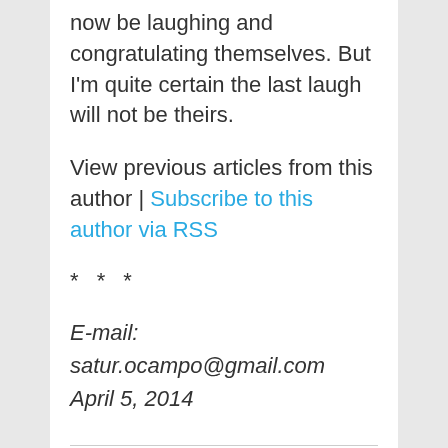now be laughing and congratulating themselves. But I'm quite certain the last laugh will not be theirs.
View previous articles from this author | Subscribe to this author via RSS
* * *
E-mail: satur.ocampo@gmail.com April 5, 2014
Share This Post